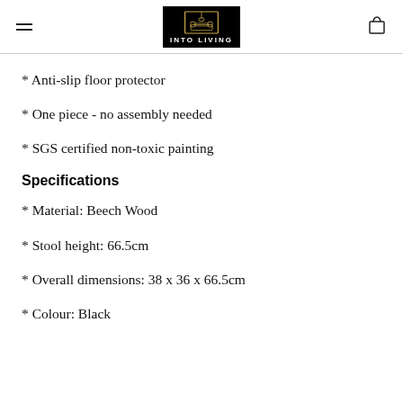INTO LIVING
* Anti-slip floor protector
* One piece - no assembly needed
* SGS certified non-toxic painting
Specifications
* Material: Beech Wood
* Stool height: 66.5cm
* Overall dimensions: 38 x 36 x 66.5cm
* Colour: Black